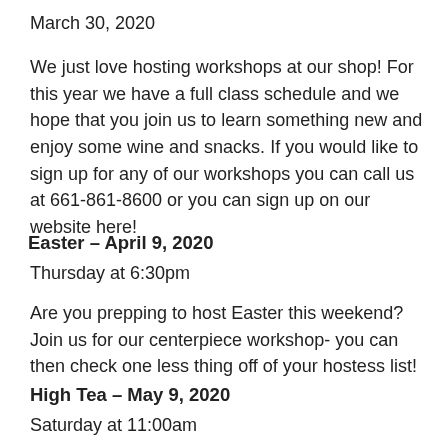March 30, 2020
We just love hosting workshops at our shop! For this year we have a full class schedule and we hope that you join us to learn something new and enjoy some wine and snacks. If you would like to sign up for any of our workshops you can call us at 661-861-8600 or you can sign up on our website here!
Easter – April 9, 2020
Thursday at 6:30pm
Are you prepping to host Easter this weekend? Join us for our centerpiece workshop- you can then check one less thing off of your hostess list!
High Tea – May 9, 2020
Saturday at 11:00am
What's better than a High Tea celebration for Mother's